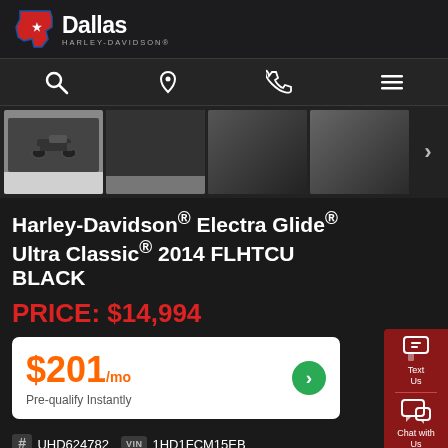[Figure (logo): Dallas Harley-Davidson logo with Texas state outline in red/blue and star]
[Figure (photo): Four motorcycle thumbnail photos showing a Harley-Davidson Electra Glide Ultra Classic from various angles]
Harley-Davidson® Electra Glide® Ultra Classic® 2014 FLHTCU BLACK
PRICE: $14,994
$201/mo Pre-qualify Instantly
# UHD624782
VIN 1HD1FCM15EB